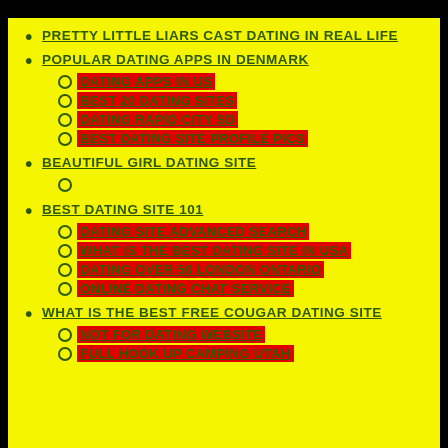PRETTY LITTLE LIARS CAST DATING IN REAL LIFE
POPULAR DATING APPS IN DENMARK
DATING APPS IN US
BEST 20 DATING SITES
DATING RAPID CITY SD
BEST DATING SITE PROFILE PICS
BEAUTIFUL GIRL DATING SITE
BEST DATING SITE 101
DATING SITE ADVANCED SEARCH
WHAT IS THE BEST DATING SITE IN USA
DATING OVER 50 LONDON ONTARIO
ONLINE DATING CHAT SERVICE
WHAT IS THE BEST FREE COUGAR DATING SITE
NOT FOR DATING WEBSITE
FULL HOOK UP CAMPING UTAH